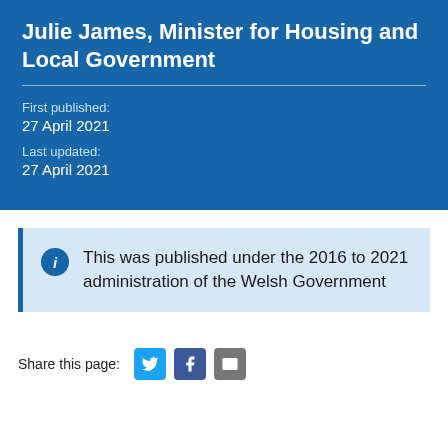Julie James, Minister for Housing and Local Government
First published:
27 April 2021
Last updated:
27 April 2021
This was published under the 2016 to 2021 administration of the Welsh Government
Share this page: